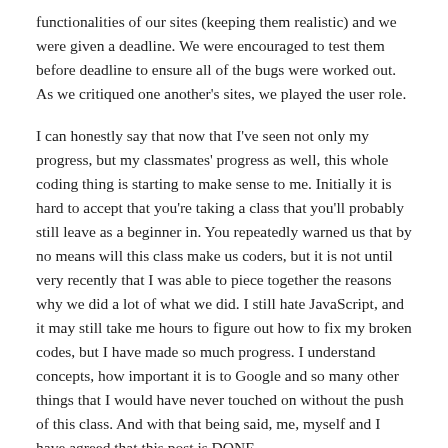functionalities of our sites (keeping them realistic) and we were given a deadline. We were encouraged to test them before deadline to ensure all of the bugs were worked out. As we critiqued one another's sites, we played the user role.
I can honestly say that now that I've seen not only my progress, but my classmates' progress as well, this whole coding thing is starting to make sense to me. Initially it is hard to accept that you're taking a class that you'll probably still leave as a beginner in. You repeatedly warned us that by no means will this class make us coders, but it is not until very recently that I was able to piece together the reasons why we did a lot of what we did. I still hate JavaScript, and it may still take me hours to figure out how to fix my broken codes, but I have made so much progress. I understand concepts, how important it is to Google and so many other things that I would have never touched on without the push of this class. And with that being said, me, myself and I have agreed that this post is DONE.